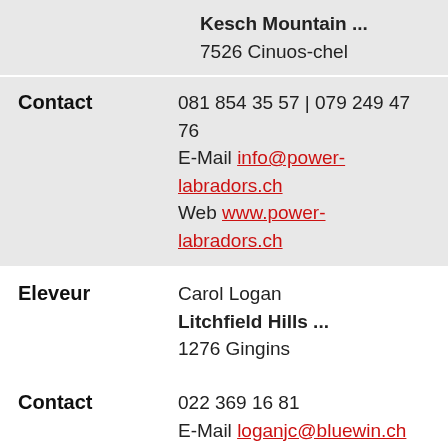Kesch Mountain ...
7526 Cinuos-chel
Contact: 081 854 35 57 | 079 249 47 76
E-Mail info@power-labradors.ch
Web www.power-labradors.ch
Eleveur: Carol Logan
Litchfield Hills ...
1276 Gingins
Contact: 022 369 16 81
E-Mail loganjc@bluewin.ch
Eleveur: Lesley Joy Mumford
Mumfords ...
3099 Rüti b. Riggisberg
Contact: 079 702 52 99
E-Mail mumfordli@gmail.com